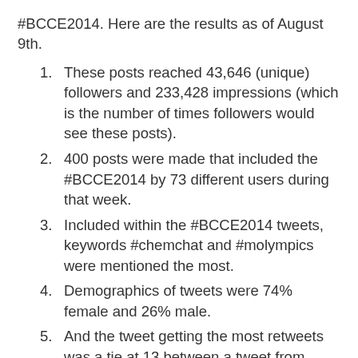#BCCE2014. Here are the results as of August 9th.
These posts reached 43,646 (unique) followers and 233,428 impressions (which is the number of times followers would see these posts).
400 posts were made that included the #BCCE2014 by 73 different users during that week.
Included within the #BCCE2014 tweets, keywords #chemchat and #molympics were mentioned the most.
Demographics of tweets were 74% female and 26% male.
And the tweet getting the most retweets was a tie at 13 between a tweet from David Read mentioning Dominick Casedonte that most students don't want all classes flipped and my own tweet showing what happens when a bunch of chemists come to the